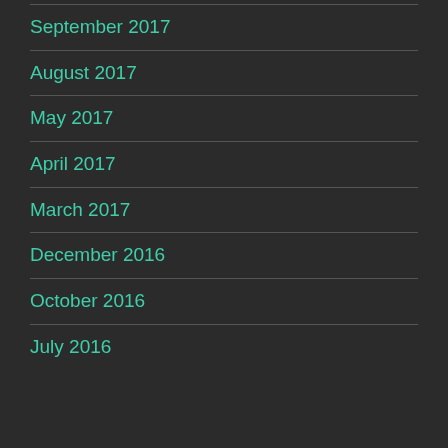September 2017
August 2017
May 2017
April 2017
March 2017
December 2016
October 2016
July 2016